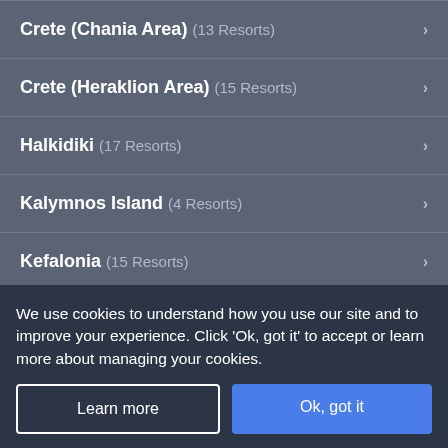Crete (Chania Area) (13 Resorts)
Crete (Heraklion Area) (15 Resorts)
Halkidiki (17 Resorts)
Kalymnos Island (4 Resorts)
Kefalonia (15 Resorts)
Kos (9 Resorts)
Lefkas (12 Resorts)
We use cookies to understand how you use our site and to improve your experience. Click 'Ok, got it' to accept or learn more about managing your cookies.